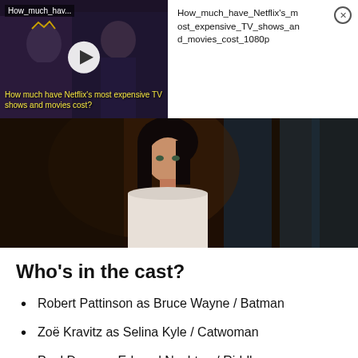[Figure (screenshot): Video thumbnail showing two people in period costume, with play button overlay, label 'How_much_hav...' and text 'How much have Netflix's most expensive TV shows and movies cost?']
How_much_have_Netflix's_most_expensive_TV_shows_and_movies_cost_1080p
[Figure (photo): Dark cinematic still of a young woman in a white tank top standing in a dimly lit room]
Who's in the cast?
Robert Pattinson as Bruce Wayne / Batman
Zoë Kravitz as Selina Kyle / Catwoman
Paul Dano as Edward Nashton / Riddler